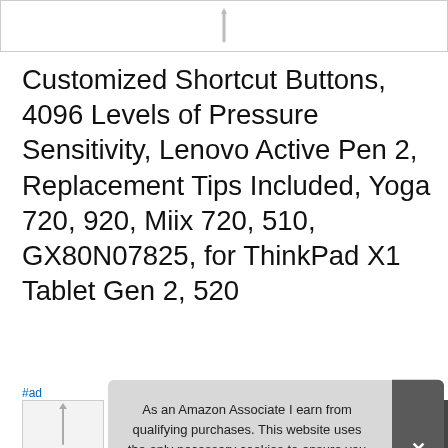[Figure (photo): Product image strip at top showing a stylus pen on white background]
Customized Shortcut Buttons, 4096 Levels of Pressure Sensitivity, Lenovo Active Pen 2, Replacement Tips Included, Yoga 720, 920, Miix 720, 510, GX80N07825, for ThinkPad X1 Tablet Gen 2, 520
#ad
[Figure (photo): Bottom product thumbnail images partially visible]
As an Amazon Associate I earn from qualifying purchases. This website uses the only necessary cookies to ensure you get the best experience on our website. More information